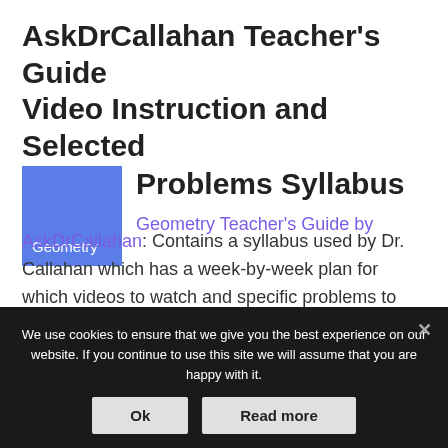AskDrCallahan Teacher's Guide Video Instruction and Selected Problems Syllabus
[Figure (illustration): Blue square badge with white text 'Geometry']
Geometry Teacher's Guide by AskDrCallahan: Contains a syllabus used by Dr. Callahan which has a week-by-week plan for which videos to watch and specific problems to work on. Includes Dr. Callahan's test grading guide that makes it easier for the teacher to grade and helps
We use cookies to ensure that we give you the best experience on our website. If you continue to use this site we will assume that you are happy with it.